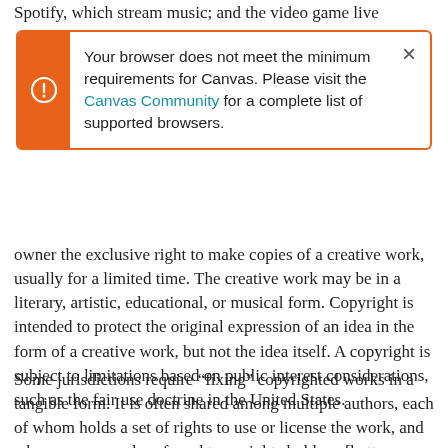Spotify, which stream music; and the video game live
[Figure (screenshot): Browser warning popup with orange left bar containing exclamation circle icon, white body with text: 'Your browser does not meet the minimum requirements for Canvas. Please visit the Canvas Community for a complete list of supported browsers.' with a close X button on the right.]
owner the exclusive right to make copies of a creative work, usually for a limited time. The creative work may be in a literary, artistic, educational, or musical form. Copyright is intended to protect the original expression of an idea in the form of a creative work, but not the idea itself. A copyright is subject to limitations based on public interest considerations, such as the fair use doctrine in the United States.
Some jurisdictions require “fixing” copyrighted works in a tangible form. It is often shared among multiple authors, each of whom holds a set of rights to use or license the work, and who are commonly referred to as rights holders. [better source needed] These rights frequently include